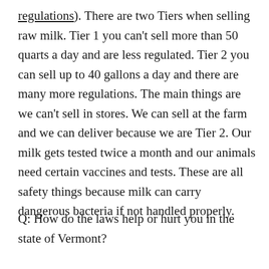regulations). There are two Tiers when selling raw milk. Tier 1 you can't sell more than 50 quarts a day and are less regulated. Tier 2 you can sell up to 40 gallons a day and there are many more regulations. The main things are we can't sell in stores. We can sell at the farm and we can deliver because we are Tier 2. Our milk gets tested twice a month and our animals need certain vaccines and tests. These are all safety things because milk can carry dangerous bacteria if not handled properly.
Q: How do the laws help or hurt you in the state of Vermont?